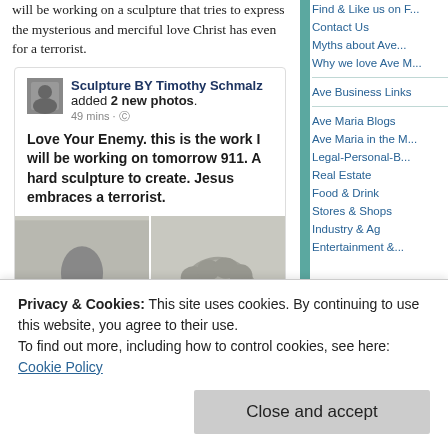will be working on a sculpture that tries to express the mysterious and merciful love Christ has even for a terrorist.
[Figure (screenshot): Facebook post by 'Sculpture BY Timothy Schmalz' showing 2 new photos added 49 mins ago. Post text: 'Love Your Enemy. this is the work I will be working on tomorrow 911. A hard sculpture to create. Jesus embraces a terrorist.' Followed by two photos of a sculpture depicting Jesus embracing a figure.]
Find & Like us on ...
Contact Us
Myths about Ave ...
Why we love Ave M...
Ave Business Links
Ave Maria Blogs
Ave Maria in the M...
Legal-Personal-B...
Real Estate
Food & Drink
Stores & Shops
Industry & Ag
Entertainment & ...
Privacy & Cookies: This site uses cookies. By continuing to use this website, you agree to their use.
To find out more, including how to control cookies, see here:
Cookie Policy
Close and accept